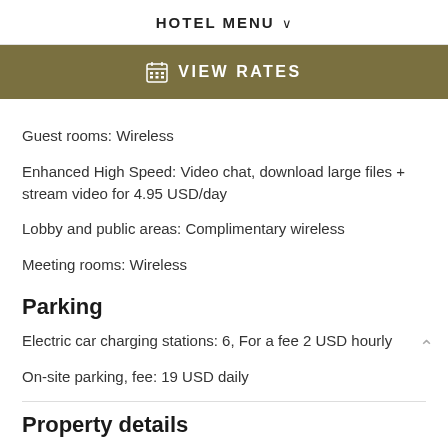HOTEL MENU ˅
[Figure (other): VIEW RATES button bar with calendar icon, olive/khaki background]
Guest rooms: Wireless
Enhanced High Speed: Video chat, download large files + stream video for 4.95 USD/day
Lobby and public areas: Complimentary wireless
Meeting rooms: Wireless
Parking
Electric car charging stations: 6, For a fee 2 USD hourly
On-site parking, fee: 19 USD daily
Property details